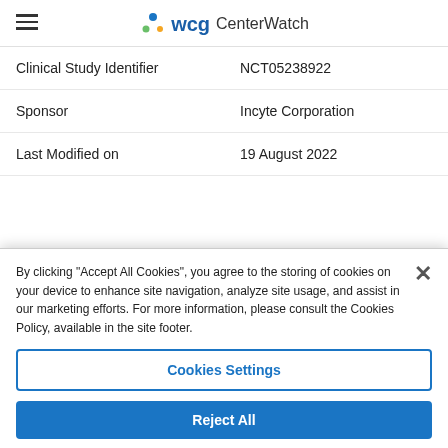WCG CenterWatch
| Field | Value |
| --- | --- |
| Clinical Study Identifier | NCT05238922 |
| Sponsor | Incyte Corporation |
| Last Modified on | 19 August 2022 |
How understandable was the trial content above?
Hard to understand [5 stars] Easy to understand
By clicking "Accept All Cookies", you agree to the storing of cookies on your device to enhance site navigation, analyze site usage, and assist in our marketing efforts. For more information, please consult the Cookies Policy, available in the site footer.
Cookies Settings
Reject All
Accept All Cookies